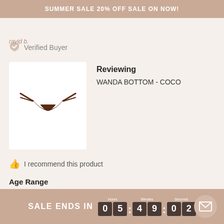SUMMER SALE 20% OFF SALE ON NOW!
ravid b.
Verified Buyer
Reviewing
WANDA BOTTOM - COCO
[Figure (photo): Dark brown bikini bottom (Wanda Bottom - Coco) displayed on white background]
I recommend this product
Age Range
25 - 34
Size
S
SALE ENDS IN 05:49:02